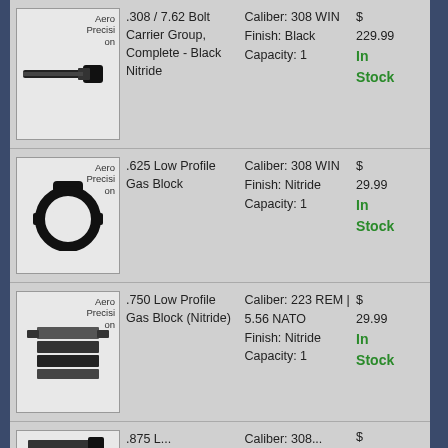| Image/Brand | Product Name | Specs | Price |
| --- | --- | --- | --- |
| Aero Precision | .308 / 7.62 Bolt Carrier Group, Complete - Black Nitride | Caliber: 308 WIN
Finish: Black
Capacity: 1 | $ 229.99
In Stock |
| Aero Precision | .625 Low Profile Gas Block | Caliber: 308 WIN
Finish: Nitride
Capacity: 1 | $ 29.99
In Stock |
| Aero Precision | .750 Low Profile Gas Block (Nitride) | Caliber: 223 REM | 5.56 NATO
Finish: Nitride
Capacity: 1 | $ 29.99
In Stock |